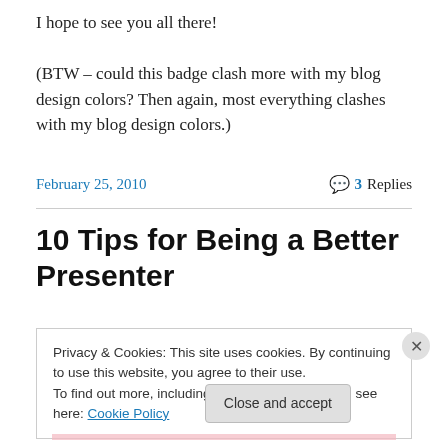I hope to see you all there!

(BTW – could this badge clash more with my blog design colors? Then again, most everything clashes with my blog design colors.)
February 25, 2010   💬 3 Replies
10 Tips for Being a Better Presenter
Privacy & Cookies: This site uses cookies. By continuing to use this website, you agree to their use.
To find out more, including how to control cookies, see here: Cookie Policy
Close and accept